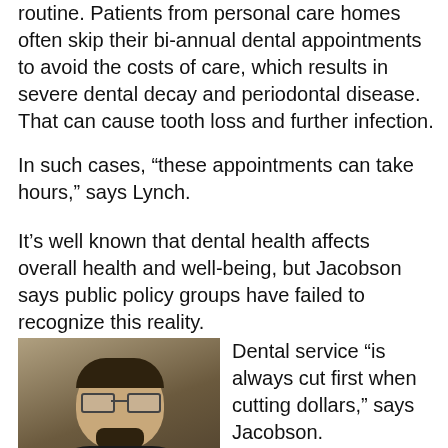routine. Patients from personal care homes often skip their bi-annual dental appointments to avoid the costs of care, which results in severe dental decay and periodontal disease. That can cause tooth loss and further infection.
In such cases, “these appointments can take hours,” says Lynch.
It’s well known that dental health affects overall health and well-being, but Jacobson says public policy groups have failed to recognize this reality.
[Figure (photo): Headshot of Eric Jacobson, a middle-aged man with glasses, goatee, wearing a dark suit and red tie.]
Eric Jacobson
Dental service “is always cut first when cutting dollars,” says Jacobson.
Many private health insurance plans do not include dental